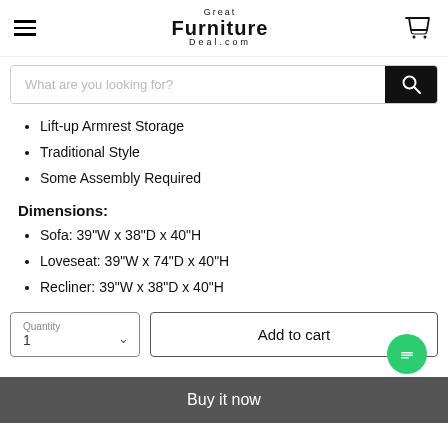Great Furniture Deal.com
Lift-up Armrest Storage
Traditional Style
Some Assembly Required
Dimensions:
Sofa: 39"W x 38"D x 40"H
Loveseat: 39"W x 74"D x 40"H
Recliner: 39"W x 38"D x 40"H
Quantity 1
Add to cart
Buy it now